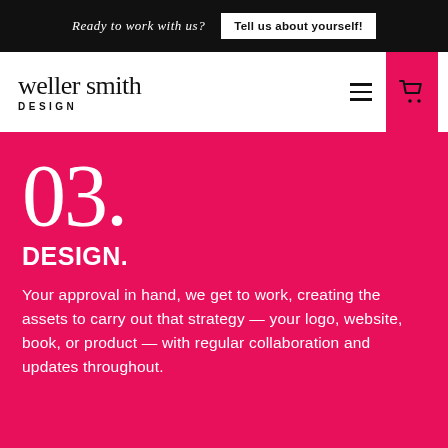Ready to work with us?  Tell us about yourself!
[Figure (logo): Weller Smith Design logo with navigation hamburger menu and cart button]
03.
DESIGN.
Your approval in hand, we get to work, creating the assets to carry out that strategy — your logo, website, book, or product — with regular collaboration and updates throughout.